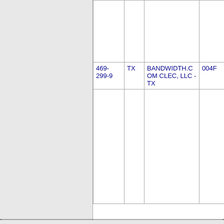|  | TX | BANDWIDTH.COM CLEC, LLC - TX | 004F |
| --- | --- | --- | --- |
| 469-299-9 | TX | BANDWIDTH.COM CLEC, LLC - TX | 004F |
|  |  |  |  |